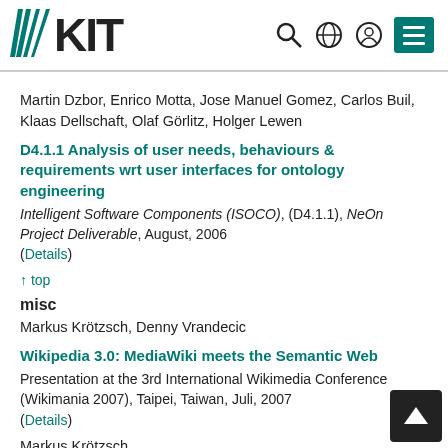KIT logo and navigation icons
Martin Dzbor, Enrico Motta, Jose Manuel Gomez, Carlos Buil, Klaas Dellschaft, Olaf Görlitz, Holger Lewen
D4.1.1 Analysis of user needs, behaviours & requirements wrt user interfaces for ontology engineering
Intelligent Software Components (ISOCO), (D4.1.1), NeOn Project Deliverable, August, 2006
(Details)
↑ top
misc
Markus Krötzsch, Denny Vrandecic
Wikipedia 3.0: MediaWiki meets the Semantic Web
Presentation at the 3rd International Wikimedia Conference (Wikimania 2007), Taipei, Taiwan, Juli, 2007
(Details)
Markus Krötzsch
Practical Reasoning with OWL and Rules